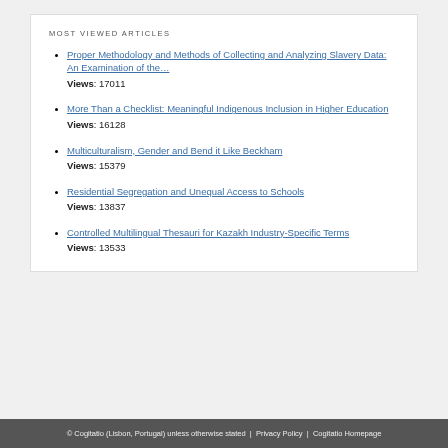MOST VIEWED ARTICLES
Proper Methodology and Methods of Collecting and Analyzing Slavery Data: An Examination of the…
Views: 17011
More Than a Checklist: Meaningful Indigenous Inclusion in Higher Education
Views: 16128
Multiculturalism, Gender and Bend it Like Beckham
Views: 15379
Residential Segregation and Unequal Access to Schools
Views: 13837
Controlled Multilingual Thesauri for Kazakh Industry-Specific Terms
Views: 13533
© Cogitatio (Lisbon, Portugal) unless otherwise stated | Privacy Policy | Cogitatio Homepage